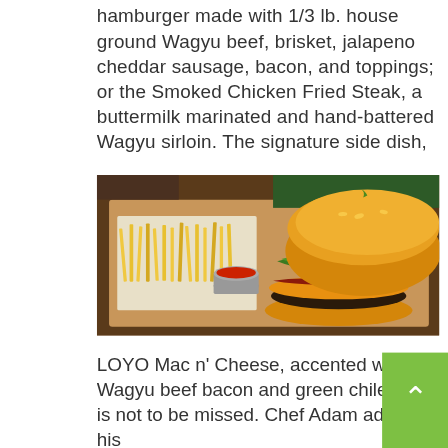hamburger made with 1/3 lb. house ground Wagyu beef, brisket, jalapeno cheddar sausage, bacon, and toppings; or the Smoked Chicken Fried Steak, a buttermilk marinated and hand-battered Wagyu sirloin. The signature side dish,
[Figure (photo): A photo of a large gourmet burger with fries and a small cup of ketchup sauce on a wooden serving board. The burger has multiple layers including a toasted bun, beef patty, cheese, bacon, and green chile toppings.]
LOYO Mac n' Cheese, accented with Wagyu beef bacon and green chiles, is not to be missed. Chef Adam adds his